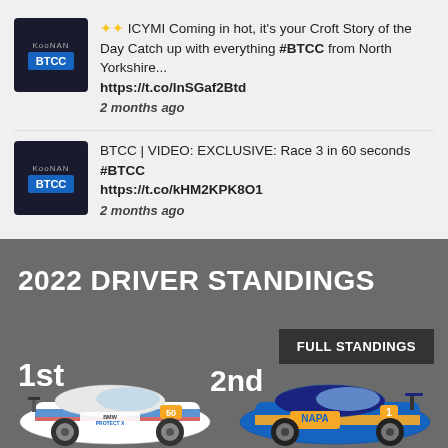⭐⭐ ICYMI Coming in hot, it's your Croft Story of the Day Catch up with everything #BTCC from North Yorkshire... https://t.co/lnSGaf2Btd
2 months ago
BTCC | VIDEO: EXCLUSIVE: Race 3 in 60 seconds #BTCC https://t.co/kHM2KPK8O1
2 months ago
2022 DRIVER STANDINGS
FULL STANDINGS
1st
2nd
[Figure (photo): White BMW BTCC racing car with BMW ProtectX livery, number 50]
[Figure (photo): Blue and yellow BTCC racing car with NAPA livery, number 1]